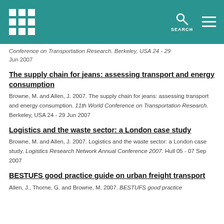SEARCH
Conference on Transportation Research. Berkeley, USA 24 - 29 Jun 2007
The supply chain for jeans: assessing transport and energy consumption
Browne, M. and Allen, J. 2007. The supply chain for jeans: assessing transport and energy consumption. 11th World Conference on Transportation Research. Berkeley, USA 24 - 29 Jun 2007
Logistics and the waste sector: a London case study
Browne, M. and Allen, J. 2007. Logistics and the waste sector: a London case study. Logistics Research Network Annual Conference 2007. Hull 05 - 07 Sep 2007
BESTUFS good practice guide on urban freight transport
Allen, J., Thorne, G. and Browne, M. 2007. BESTUFS good practice